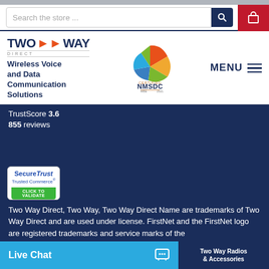[Figure (screenshot): Website header with search bar, Two Way Direct logo, NMSDC certification badge, and MENU button]
TrustScore 3.6
855 reviews
[Figure (logo): SecureTrust Trusted Commerce - Click to Validate badge]
Two Way Direct, Two Way, Two Way Direct Name are trademarks of Two Way Direct and are used under license. FirstNet and the FirstNet logo are registered trademarks and service marks of the
[Figure (infographic): Live Chat button with chat icon on blue background, and Two Way Radios & Accessories on dark blue background]